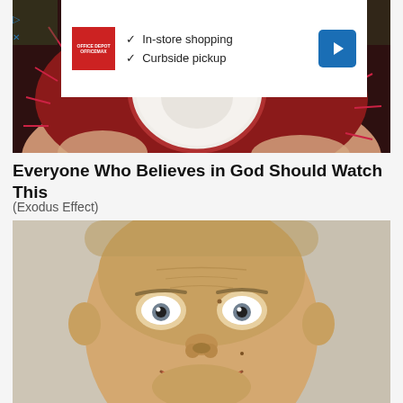[Figure (photo): Hand holding an open rambutan fruit showing white interior flesh, with a Google ad overlay showing 'In-store shopping' and 'Curbside pickup' checkmarks]
Everyone Who Believes in God Should Watch This
(Exodus Effect)
[Figure (photo): Close-up of a man's face with wide eyes and big smile, looking directly at camera with surprised/excited expression]